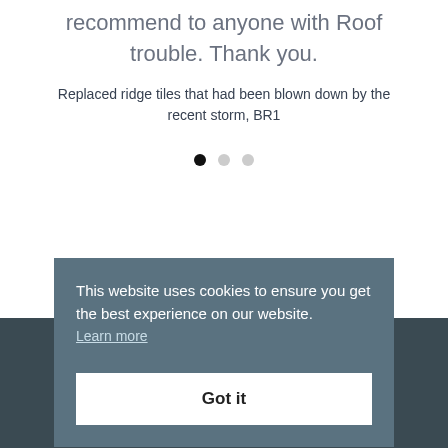recommend to anyone with Roof trouble. Thank you.
Replaced ridge tiles that had been blown down by the recent storm, BR1
[Figure (other): Carousel navigation dots: one black dot and two light grey dots indicating a 3-slide carousel]
This website uses cookies to ensure you get the best experience on our website. Learn more
Got it
MAINTENANCE SERVICES